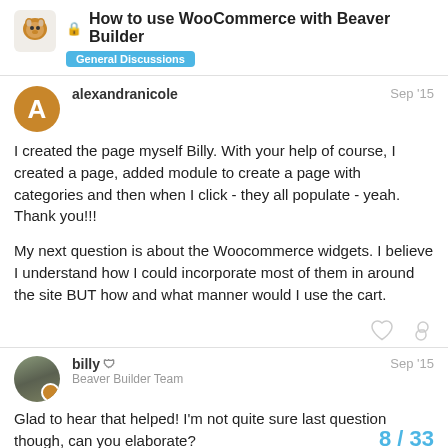🔒 How to use WooCommerce with Beaver Builder — General Discussions
alexandranicole — Sep '15

I created the page myself Billy. With your help of course, I created a page, added module to create a page with categories and then when I click - they all populate - yeah. Thank you!!!

My next question is about the Woocommerce widgets. I believe I understand how I could incorporate most of them in around the site BUT how and what manner would I use the cart.
billy 🛡 — Beaver Builder Team — Sep '15

Glad to hear that helped! I'm not quite sure last question though, can you elaborate?
8 / 33